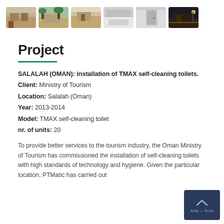[Figure (photo): Strip of 6 thumbnail photos showing outdoor toilet/restroom facilities in Salalah, Oman]
Project
SALALAH (OMAN): installation of TMAX self-cleaning toilets.
Client: Ministry of Tourism
Location: Salalah (Oman)
Year: 2013-2014
Model: TMAX self-cleaning toilet
nr. of units: 20
To provide better services to the tourism industry, the Oman Ministry of Tourism has commissioned the installation of self-cleaning toilets with high standards of technology and hygiene. Given the particular location, PTMatic has carried out